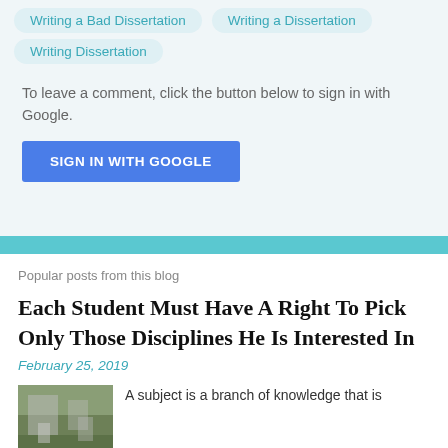Writing a Bad Dissertation
Writing a Dissertation
Writing Dissertation
To leave a comment, click the button below to sign in with Google.
SIGN IN WITH GOOGLE
Popular posts from this blog
Each Student Must Have A Right To Pick Only Those Disciplines He Is Interested In
February 25, 2019
[Figure (photo): Outdoor photo of a street scene]
A subject is a branch of knowledge that is